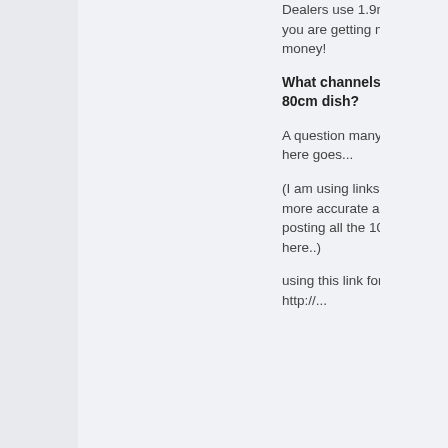Dealers use 1.9m as it sounds like you are getting more dish for your money!
What channels can i get on an 80cm dish?
A question many have asked, so here goes...
(I am using links as these will be more accurate and complete than posting all the 100's of channels here..)
using this link for free tv channels http://...